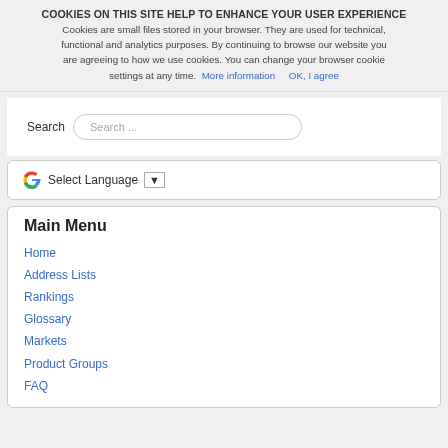COOKIES ON THIS SITE HELP TO ENHANCE YOUR USER EXPERIENCE
Cookies are small files stored in your browser. They are used for technical, functional and analytics purposes. By continuing to browse our website you are agreeing to how we use cookies. You can change your browser cookie settings at any time.  More information      OK, I agree
[Figure (screenshot): Search input field with placeholder text 'Search ...']
[Figure (screenshot): Google Translate widget with 'Select Language' dropdown]
Main Menu
Home
Address Lists
Rankings
Glossary
Markets
Product Groups
FAQ